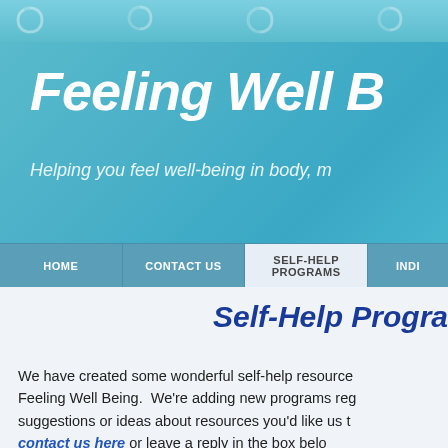Feeling Well B[eing]
Helping you feel well-being in body, m[ind and spirit]
[Figure (screenshot): Website navigation bar with items: HOME, CONTACT US, SELF-HELP PROGRAMS (active/highlighted), INDIV[IDUAL...]]
Self-Help Progra[ms]
We have created some wonderful self-help resource[s] for Feeling Well Being.  We're adding new programs reg[ularly, so check back often.  If you have] suggestions or ideas about resources you'd like us t[o add,] contact us here or leave a reply in the box belo[w.]